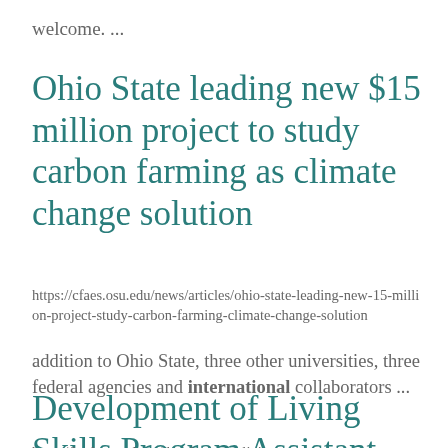welcome. ...
Ohio State leading new $15 million project to study carbon farming as climate change solution
https://cfaes.osu.edu/news/articles/ohio-state-leading-new-15-million-project-study-carbon-farming-climate-change-solution
addition to Ohio State, three other universities, three federal agencies and international collaborators ...
Development of Living Skills Program Assistant Position
https://butlerswcd.org/development-living-...